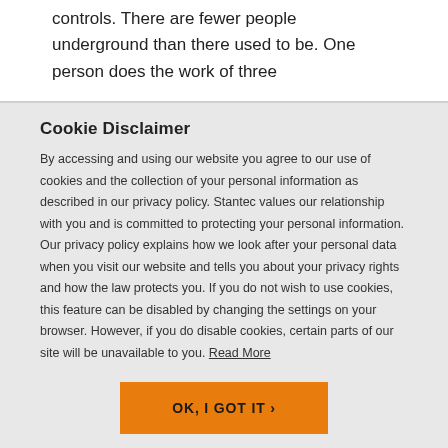controls. There are fewer people underground than there used to be. One person does the work of three
Cookie Disclaimer
By accessing and using our website you agree to our use of cookies and the collection of your personal information as described in our privacy policy. Stantec values our relationship with you and is committed to protecting your personal information. Our privacy policy explains how we look after your personal data when you visit our website and tells you about your privacy rights and how the law protects you. If you do not wish to use cookies, this feature can be disabled by changing the settings on your browser. However, if you do disable cookies, certain parts of our site will be unavailable to you. Read More
OK, I GOT IT ›